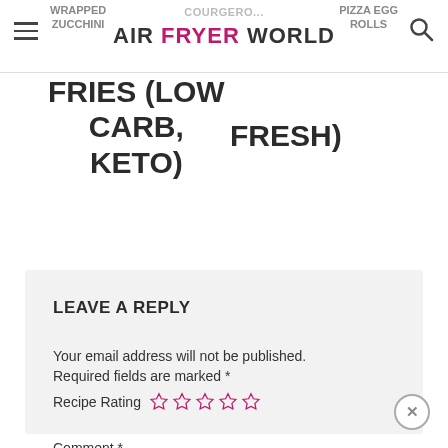AIR FRYER WORLD
FRIES (LOW CARB, KETO)
FRESH)
LEAVE A REPLY
Your email address will not be published. Required fields are marked *
Recipe Rating ☆☆☆☆☆
Comment *